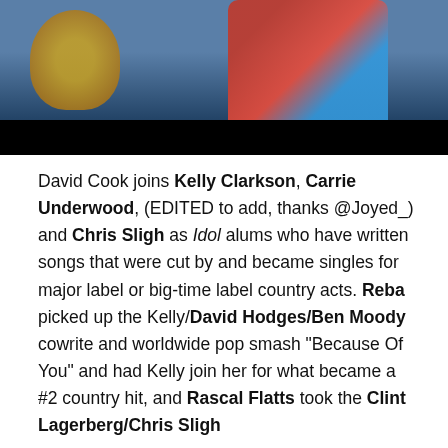[Figure (photo): Partial photo of people, mostly cropped, with dark/black bar at bottom of image area. Background shows blue and red clothing tones.]
David Cook joins Kelly Clarkson, Carrie Underwood, (EDITED to add, thanks @Joyed_) and Chris Sligh as Idol alums who have written songs that were cut by and became singles for major label or big-time label country acts. Reba picked up the Kelly/David Hodges/Ben Moody cowrite and worldwide pop smash “Because Of You” and had Kelly join her for what became a #2 country hit, and Rascal Flatts took the Clint Lagerberg/Chris Sligh